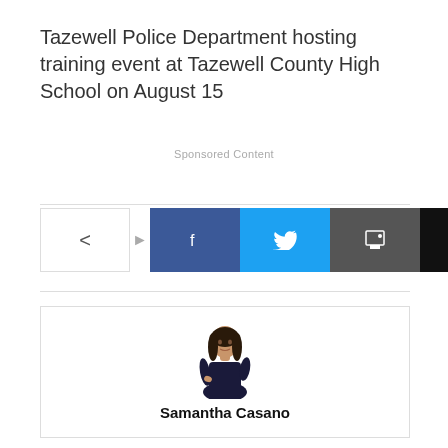Tazewell Police Department hosting training event at Tazewell County High School on August 15
Sponsored Content
[Figure (infographic): Social media share bar with icons: share button, Facebook, Twitter, Print, Email, Pinterest, Reddit, Viber]
[Figure (photo): Photo of Samantha Casano, a woman with long dark hair wearing a black dress]
Samantha Casano